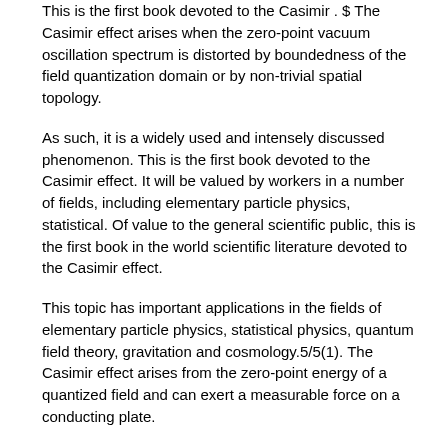This is the first book devoted to the Casimir . $ The Casimir effect arises when the zero-point vacuum oscillation spectrum is distorted by boundedness of the field quantization domain or by non-trivial spatial topology.
As such, it is a widely used and intensely discussed phenomenon. This is the first book devoted to the Casimir effect. It will be valued by workers in a number of fields, including elementary particle physics, statistical. Of value to the general scientific public, this is the first book in the world scientific literature devoted to the Casimir effect.
This topic has important applications in the fields of elementary particle physics, statistical physics, quantum field theory, gravitation and cosmology.5/5(1). The Casimir effect arises from the zero-point energy of a quantized field and can exert a measurable force on a conducting plate.
It is important in some modern developments in cosmology and elementary particle physics. The Casimir effect is analyzed. This effect consists of a polarization of the vacuum of quantized fields which arises as a result of a change in the spectrum of